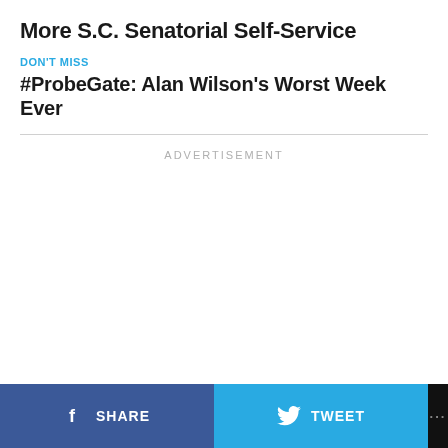More S.C. Senatorial Self-Service
DON'T MISS
#ProbeGate: Alan Wilson's Worst Week Ever
ADVERTISEMENT
SHARE   TWEET   ...